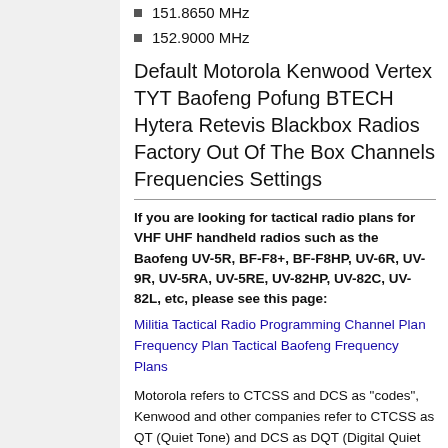151.8650 MHz
152.9000 MHz
Default Motorola Kenwood Vertex TYT Baofeng Pofung BTECH Hytera Retevis Blackbox Radios Factory Out Of The Box Channels Frequencies Settings
If you are looking for tactical radio plans for VHF UHF handheld radios such as the Baofeng UV-5R, BF-F8+, BF-F8HP, UV-6R, UV-9R, UV-5RA, UV-5RE, UV-82HP, UV-82C, UV-82L, etc, please see this page:
Militia Tactical Radio Programming Channel Plan Frequency Plan Tactical Baofeng Frequency Plans
Motorola refers to CTCSS and DCS as "codes", Kenwood and other companies refer to CTCSS as QT (Quiet Tone) and DCS as DQT (Digital Quiet Tone). The terms "PL" and